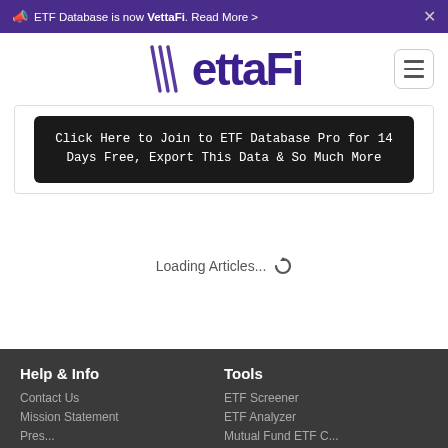ETF Database is now VettaFi. Read More >
[Figure (logo): VettaFi logo with stylized V lines and purple text]
Click Here to Join to ETF Database Pro for 14 Days Free, Export This Data & So Much More
Loading Articles...
Help & Info
Contact Us
Mission Statement
Tools
ETF Screener
ETF Analyzer
Mutual Fund ETF C...